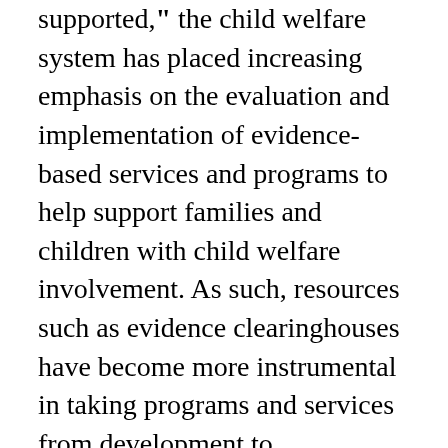supported," the child welfare system has placed increasing emphasis on the evaluation and implementation of evidence-based services and programs to help support families and children with child welfare involvement. As such, resources such as evidence clearinghouses have become more instrumental in taking programs and services from development to implementation to evaluation. Although child welfare organizations sometimes face challenges in building evidence for promising programs and services, child welfare evidence clearinghouses, such